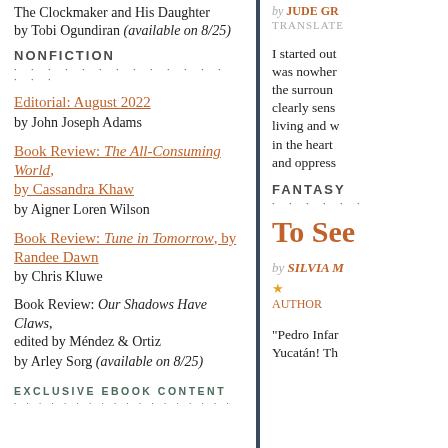The Clockmaker and His Daughter
by Tobi Ogundiran (available on 8/25)
NONFICTION
Editorial: August 2022
by John Joseph Adams
Book Review: The All-Consuming World, by Cassandra Khaw
by Aigner Loren Wilson
Book Review: Tune in Tomorrow, by Randee Dawn
by Chris Kluwe
Book Review: Our Shadows Have Claws, edited by Méndez & Ortiz
by Arley Sorg (available on 8/25)
EXCLUSIVE EBOOK CONTENT
by JUDE GR
TRANSLATE
I started out was nowhere the surround clearly sense living and w in the heart and oppress
FANTASY
To See
by SILVIA M
AUTHOR
"Pedro Infar Yucatán! Th